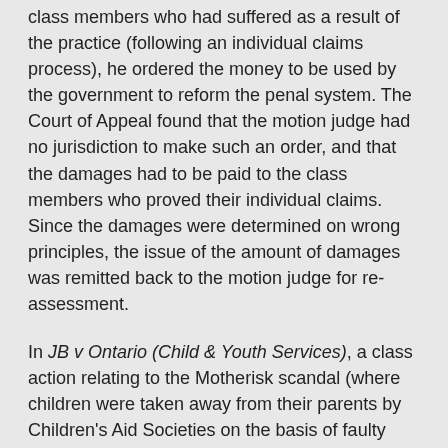class members who had suffered as a result of the practice (following an individual claims process), he ordered the money to be used by the government to reform the penal system. The Court of Appeal found that the motion judge had no jurisdiction to make such an order, and that the damages had to be paid to the class members who proved their individual claims. Since the damages were determined on wrong principles, the issue of the amount of damages was remitted back to the motion judge for re-assessment.
In JB v Ontario (Child & Youth Services), a class action relating to the Motherisk scandal (where children were taken away from their parents by Children's Aid Societies on the basis of faulty drug testing), the Court of Appeal confirmed that where government agencies exist to protect children, to avoid conflicting duties, they must only owe a duty of care to the children they serve and not to their parents as well. In addition, the Court held that the